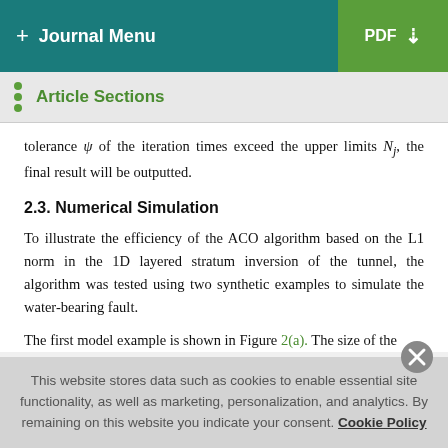+ Journal Menu | PDF
Article Sections
tolerance ψ of the iteration times exceed the upper limits Nj, the final result will be outputted.
2.3. Numerical Simulation
To illustrate the efficiency of the ACO algorithm based on the L1 norm in the 1D layered stratum inversion of the tunnel, the algorithm was tested using two synthetic examples to simulate the water-bearing fault.
The first model example is shown in Figure 2(a). The size of the
This website stores data such as cookies to enable essential site functionality, as well as marketing, personalization, and analytics. By remaining on this website you indicate your consent. Cookie Policy